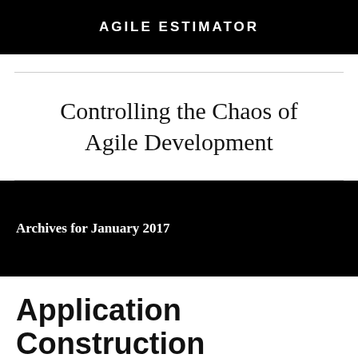AGILE ESTIMATOR
Controlling the Chaos of Agile Development
Archives for January 2017
Application Construction